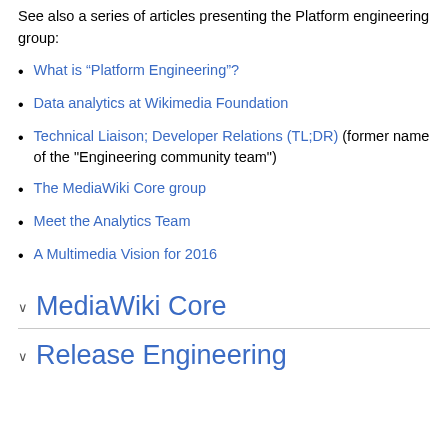See also a series of articles presenting the Platform engineering group:
What is “Platform Engineering”?
Data analytics at Wikimedia Foundation
Technical Liaison; Developer Relations (TL;DR) (former name of the "Engineering community team")
The MediaWiki Core group
Meet the Analytics Team
A Multimedia Vision for 2016
MediaWiki Core
Release Engineering